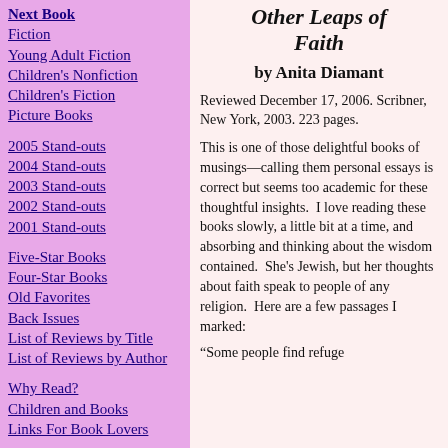Next Book
Fiction
Young Adult Fiction
Children's Nonfiction
Children's Fiction
Picture Books
2005 Stand-outs
2004 Stand-outs
2003 Stand-outs
2002 Stand-outs
2001 Stand-outs
Five-Star Books
Four-Star Books
Old Favorites
Back Issues
List of Reviews by Title
List of Reviews by Author
Why Read?
Children and Books
Links For Book Lovers
About Me
Other Leaps of Faith
by Anita Diamant
Reviewed December 17, 2006. Scribner, New York, 2003. 223 pages.
This is one of those delightful books of musings—calling them personal essays is correct but seems too academic for these thoughtful insights.  I love reading these books slowly, a little bit at a time, and absorbing and thinking about the wisdom contained.  She's Jewish, but her thoughts about faith speak to people of any religion.  Here are a few passages I marked:
“Some people find refuge